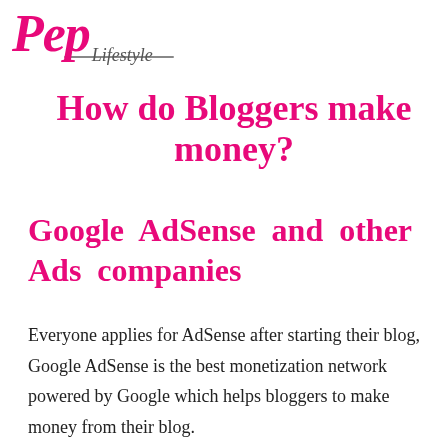Pep Lifestyle
How do Bloggers make money?
Google AdSense and other Ads companies
Everyone applies for AdSense after starting their blog, Google AdSense is the best monetization network powered by Google which helps bloggers to make money from their blog.